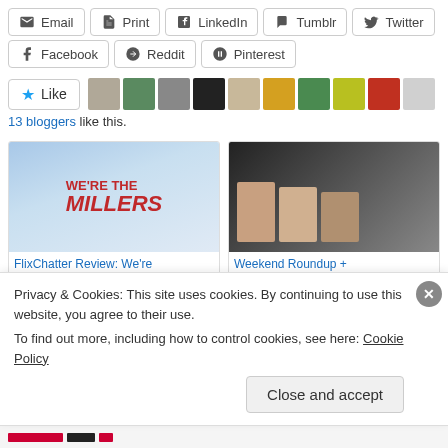Email | Print | LinkedIn | Tumblr | Twitter
Facebook | Reddit | Pinterest
Like  13 bloggers like this.
[Figure (screenshot): Two related post cards: 'FlixChatter Review: We're The Millers' with movie poster image, and 'Weekend Roundup + Musings on the SAG' with photo of people]
FlixChatter Review: We're The Millers
Weekend Roundup + Musings on the SAG
Privacy & Cookies: This site uses cookies. By continuing to use this website, you agree to their use.
To find out more, including how to control cookies, see here: Cookie Policy
Close and accept